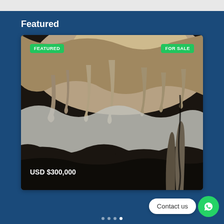Featured
[Figure (photo): Cave interior with stalactites and rock formations, lit from above. Has green badge labels 'FEATURED' (top-left) and 'FOR SALE' (top-right), and price 'USD $300,000' at bottom-left.]
USD $300,000
Contact us